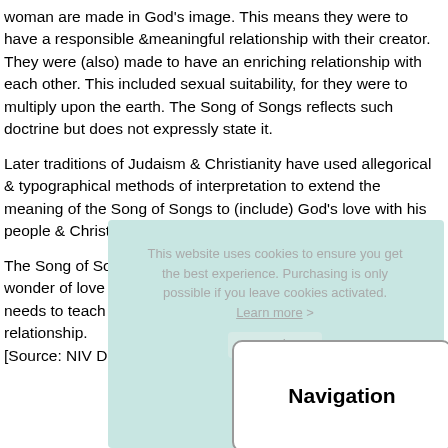woman are made in God's image. This means they were to have a responsible &meaningful relationship with their creator. They were (also) made to have an enriching relationship with each other. This included sexual suitability, for they were to multiply upon the earth. The Song of Songs reflects such doctrine but does not expressly state it.
Later traditions of Judaism & Christianity have used allegorical & typographical methods of interpretation to extend the meaning of the Song of Songs to (include) God's love with his people & Christ's love for the church.
The Song of Songs is a refreshing reminder of the beauty & wonder of love shared between a man & a woman. The church needs to teach its people this wonder & beauty in the proper relationship.
[Source: NIV Disciple's Study Bible]
[Figure (screenshot): Cookie consent overlay on teal background with text 'This website uses cookies to ensure you get the best experience. Purchasing is only possible if you leave cookies activated. Learn more.' and a 'Got it!' button.]
[Figure (screenshot): Navigation box: white rounded rectangle with bold 'Navigation' label.]